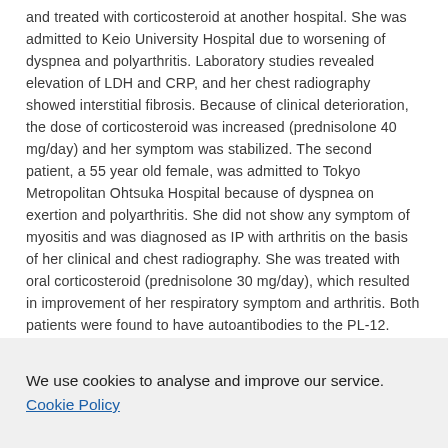and treated with corticosteroid at another hospital. She was admitted to Keio University Hospital due to worsening of dyspnea and polyarthritis. Laboratory studies revealed elevation of LDH and CRP, and her chest radiography showed interstitial fibrosis. Because of clinical deterioration, the dose of corticosteroid was increased (prednisolone 40 mg/day) and her symptom was stabilized. The second patient, a 55 year old female, was admitted to Tokyo Metropolitan Ohtsuka Hospital because of dyspnea on exertion and polyarthritis. She did not show any symptom of myositis and was diagnosed as IP with arthritis on the basis of her clinical and chest radiography. She was treated with oral corticosteroid (prednisolone 30 mg/day), which resulted in improvement of her respiratory symptom and arthritis. Both patients were found to have autoantibodies to the PL-12. Autoantibodies to aminoacyl tRNA synthetases have been recognized as having a linkage with myositis mainly because of observations of the Jo-1 specificity. There was one report on a North American population that most but not all patients with
We use cookies to analyse and improve our service. Cookie Policy